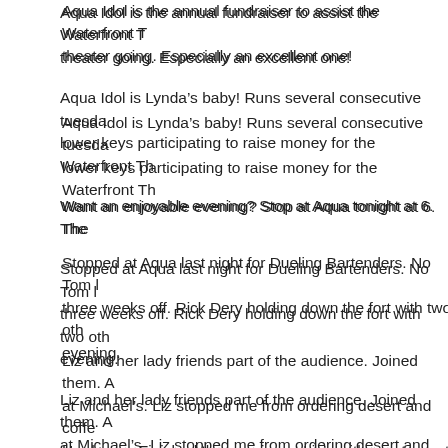Aqua Idol is the annual fundraiser to assist the Waterfront Th theater going. Especially an excellent one!
Aqua Idol is Lynda's baby! Runs several consecutive tuesda lower keys participating to raise money for the Waterfront Th
Want an enjoyable evening? Stop at Aqua tonight at 6. The
Stopped at Aqua last night for Dueling Bartenders. No Tom l three weeks off. Rick Dery holding down the fort with two oth evening.
Liz and her lady friends part of the audience. Joined them. A at Michael's. Liz stopped me from ordering desert and coffe Her home. Finished the evening at Liz's with great carrot cal
My blog talk radio show tonight. Tuesday Talk with Key Wes a quick half hour of interesting and challenging topics. Guara www.blogtalkradio.com/key-west-lou.